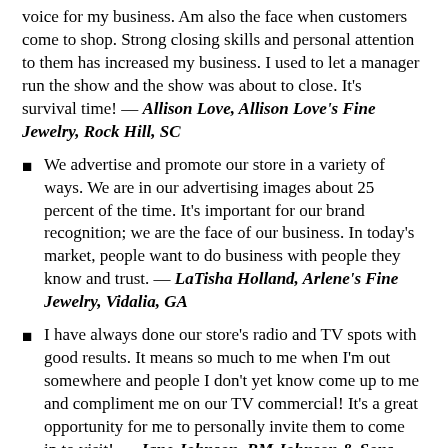voice for my business. Am also the face when customers come to shop. Strong closing skills and personal attention to them has increased my business. I used to let a manager run the show and the show was about to close. It's survival time! — Allison Love, Allison Love's Fine Jewelry, Rock Hill, SC
We advertise and promote our store in a variety of ways. We are in our advertising images about 25 percent of the time. It's important for our brand recognition; we are the face of our business. In today's market, people want to do business with people they know and trust. — LaTisha Holland, Arlene's Fine Jewelry, Vidalia, GA
I have always done our store's radio and TV spots with good results. It means so much to me when I'm out somewhere and people I don't yet know come up to me and compliment me on our TV commercial! It's a great opportunity for me to personally invite them to come in to visit! — Jane Johnson, RM Johnson & Sons, Salem, VA